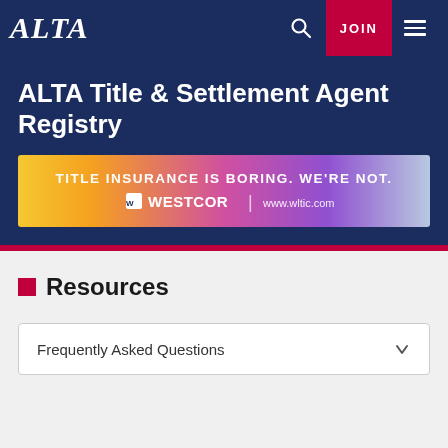ALTA
ALTA Title & Settlement Agent Registry
[Figure (infographic): Westcor Land Title Insurance Company advertisement banner reading: TITLE INSURANCE IS BORING. WE'RE NOT. WESTCOR | www.wltic.com]
Resources
Frequently Asked Questions